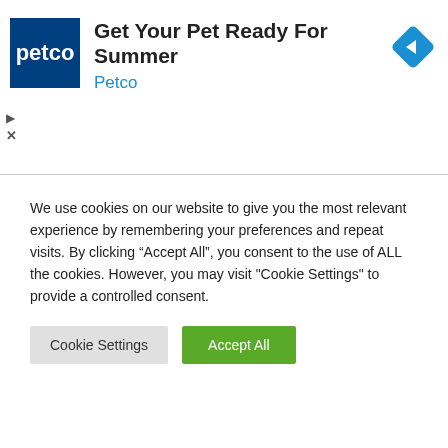[Figure (screenshot): Petco advertisement banner with navy blue petco logo, headline 'Get Your Pet Ready For Summer', brand name 'Petco' in blue, and a blue diamond navigation icon]
[Figure (screenshot): HiTechReview website dark header with white 'HiTech' and teal 'Review' logo text, with Facebook and Twitter social icons below, and a white collapse/chevron button in top-left]
We use cookies on our website to give you the most relevant experience by remembering your preferences and repeat visits. By clicking “Accept All”, you consent to the use of ALL the cookies. However, you may visit "Cookie Settings" to provide a controlled consent.
Cookie Settings
Accept All